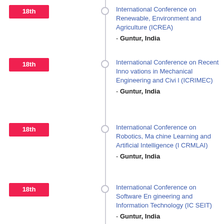18th - International Conference on Renewable, Environment and Agriculture (ICREA) - Guntur, India
18th - International Conference on Recent Innovations in Mechanical Engineering and Civil (ICRIMEC) - Guntur, India
18th - International Conference on Robotics, Machine Learning and Artificial Intelligence (ICRMLAI) - Guntur, India
18th - International Conference on Software Engineering and Information Technology (ICSEIT) - Guntur, India